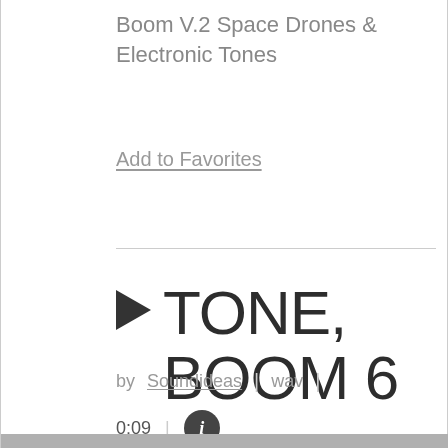Boom V.2 Space Drones & Electronic Tones
Add to Favorites
TONE, BOOM 6
by Soundideas | wav | 0:09 |